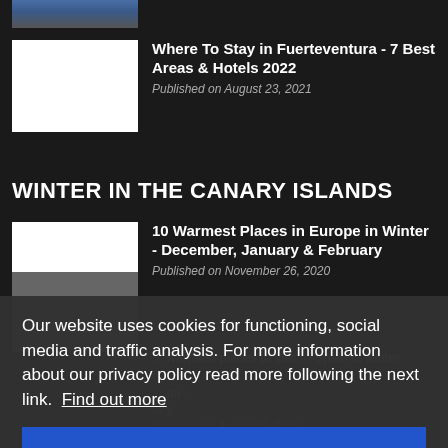[Figure (photo): Cropped thumbnail image at top of page, partially visible]
Where To Stay in Fuerteventura - 7 Best Areas & Hotels 2022
Published on August 23, 2021
WINTER IN THE CANARY ISLANDS
[Figure (photo): White and gray thumbnail for article about warmest places]
10 Warmest Places in Europe in Winter - December, January & February
Published on November 26, 2020
... warmest places to visit in Spain in winter
Published on September 13, 2021
... winter ...
Published on August 21, 2020
Our website uses cookies for functioning, social media and traffic analysis. For more information about our privacy policy read more following the next link. Find out more
I understand!